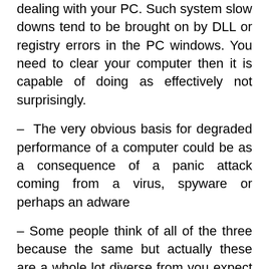dealing with your PC. Such system slow downs tend to be brought on by DLL or registry errors in the PC windows. You need to clear your computer then it is capable of doing as effectively not surprisingly.
– The very obvious basis for degraded performance of a computer could be as a consequence of a panic attack coming from a virus, spyware or perhaps an adware
– Some people think of all of the three because the same but actually these are a whole lot diverse from you expect these phones be
– Nonetheless, all of them are capable of